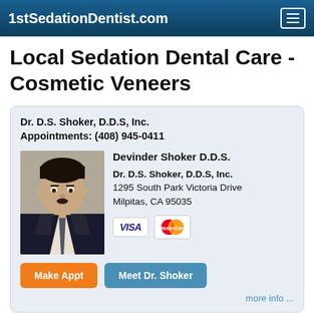1stSedationDentist.com
Local Sedation Dental Care - Cosmetic Veneers
Dr. D.S. Shoker, D.D.S, Inc.
Appointments: (408) 945-0411
[Figure (photo): Headshot photo of Dr. Devinder Shoker in a dark suit and tie]
Devinder Shoker D.D.S.
Dr. D.S. Shoker, D.D.S, Inc.
1295 South Park Victoria Drive
Milpitas, CA 95035
[Figure (logo): VISA and MasterCard payment icons]
Make Appt
Meet Dr. Shoker
more info ...